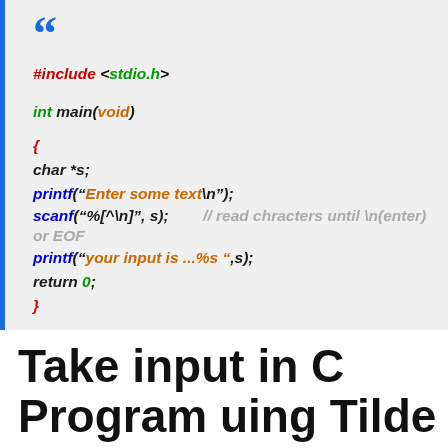[Figure (screenshot): C code snippet showing scanf with %[^\n] format specifier to read characters until newline or EOF, displayed in a gray box with blue left border and opening double quotation mark]
Take input in C Program uing Tilde